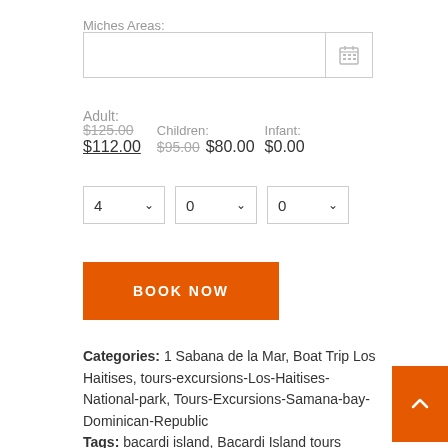Miches Areas:
[Figure (other): Date input field with calendar icon]
Adult:
$125.00 (strikethrough) $112.00 (underlined) Children: $95.00 (strikethrough) $80.00  Infant: $0.00
Quantity dropdowns: Adult: 4, Children: 0, Infant: 0
BOOK NOW
Categories: 1 Sabana de la Mar, Boat Trip Los Haitises, tours-excursions-Los-Haitises-National-park, Tours-Excursions-Samana-bay-Dominican-Republic
Tags: bacardi island, Bacardi Island tours